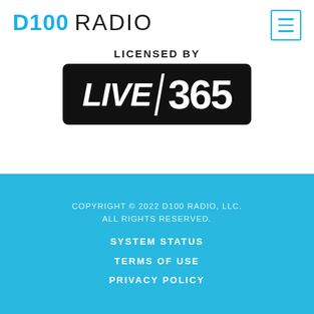D100 RADIO
[Figure (logo): Live 365 logo badge — black rounded rectangle with white bold italic text 'LIVE' and '365', preceded by 'LICENSED BY' in bold black uppercase text]
COPYRIGHT © 2022 D100 RADIO, LLC. ALL RIGHTS RESERVED.
SYSTEM STATUS
TERMS OF USE
PRIVACY POLICY